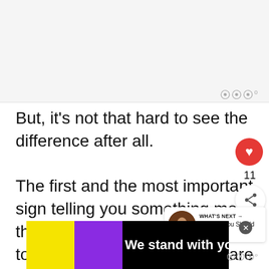[Figure (other): Gray advertisement placeholder area at top of page]
But, it's not that hard to see the difference after all.
The first and the most important sign telling you something more than just grieving is happening to you is if you simply don't care about anything
[Figure (other): Bottom advertisement banner: yellow left block, purple middle block, black right area with bold white text 'We stand with you.']
11